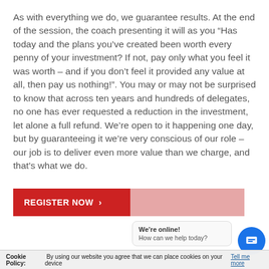As with everything we do, we guarantee results. At the end of the session, the coach presenting it will as you “Has today and the plans you’ve created been worth every penny of your investment? If not, pay only what you feel it was worth – and if you don’t feel it provided any value at all, then pay us nothing!”. You may or may not be surprised to know that across ten years and hundreds of delegates, no one has ever requested a reduction in the investment, let alone a full refund. We’re open to it happening one day, but by guaranteeing it we’re very conscious of our role – our job is to deliver even more value than we charge, and that’s what we do.
[Figure (other): Red 'REGISTER NOW >' button with a semi-transparent red overlay beside it]
We’re online! How can we help today?
Cookie Policy: By using our website you agree that we can place cookies on your device Tell me more